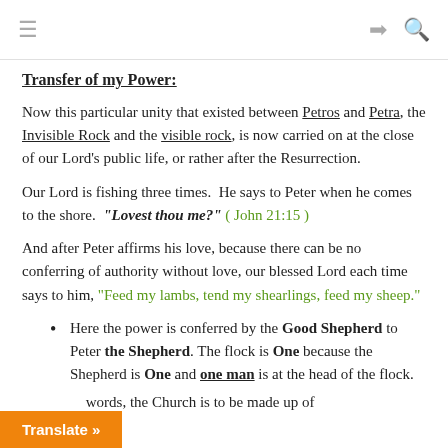≡  ➡  🔍
Transfer of my Power:
Now this particular unity that existed between Petros and Petra, the Invisible Rock and the visible rock, is now carried on at the close of our Lord's public life, or rather after the Resurrection.
Our Lord is fishing three times. He says to Peter when he comes to the shore. "Lovest thou me?" ( John 21:15 )
And after Peter affirms his love, because there can be no conferring of authority without love, our blessed Lord each time says to him, "Feed my lambs, tend my shearlings, feed my sheep."
Here the power is conferred by the Good Shepherd to Peter the Shepherd. The flock is One because the Shepherd is One and one man is at the head of the flock.
words, the Church is to be made up of